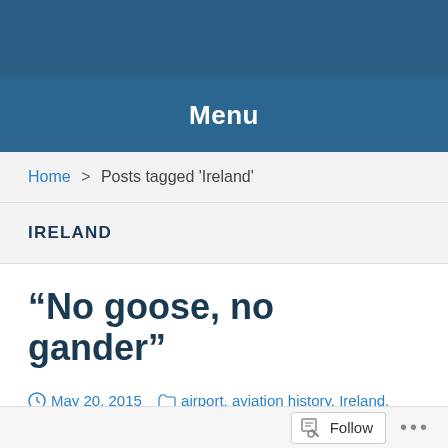Menu
Home > Posts tagged 'Ireland'
IRELAND
“No goose, no gander”
May 20, 2015   airport, aviation history, Ireland, Newfoundland, transatlantic,   Alcock and Brown